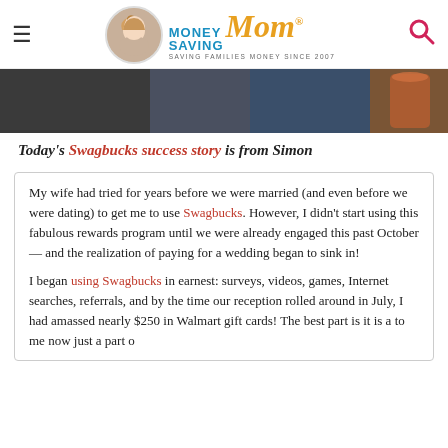Money Saving Mom® — SAVING FAMILIES MONEY SINCE 2007
[Figure (photo): Hero/banner photo showing what appears to be shopping or household items in dark tones]
Today's Swagbucks success story is from Simon
My wife had tried for years before we were married (and even before we were dating) to get me to use Swagbucks. However, I didn't start using this fabulous rewards program until we were already engaged this past October — and the realization of paying for a wedding began to sink in!

I began using Swagbucks in earnest: surveys, videos, games, Internet searches, referrals, and by the time our reception rolled around in July, I had amassed nearly $250 in Walmart gift cards! The best part is it is a to me now just a part o